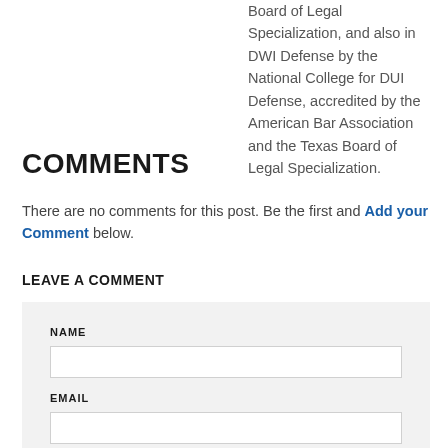Board of Legal Specialization, and also in DWI Defense by the National College for DUI Defense, accredited by the American Bar Association and the Texas Board of Legal Specialization.
COMMENTS
There are no comments for this post. Be the first and Add your Comment below.
LEAVE A COMMENT
NAME [input field]
EMAIL [input field]